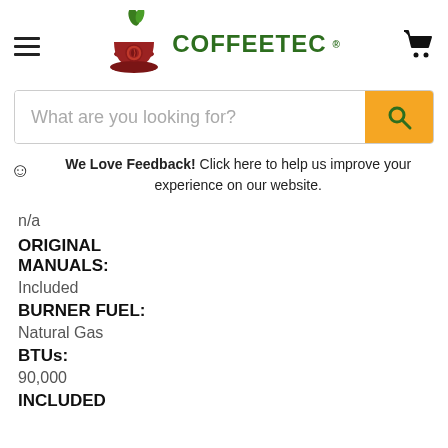[Figure (logo): Coffeetec logo with coffee cup and plant icon, green text reading COFFEETEC]
What are you looking for?
We Love Feedback! Click here to help us improve your experience on our website.
n/a
ORIGINAL MANUALS:
Included
BURNER FUEL:
Natural Gas
BTUs:
90,000
INCLUDED